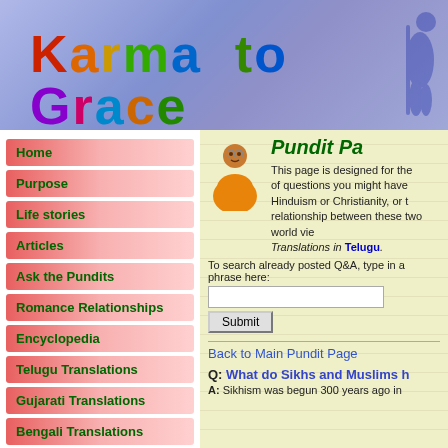[Figure (logo): Karma to Grace website header banner with colorful text logo and Gandhi silhouette on purple-blue gradient background]
Home
Purpose
Life stories
Articles
Ask the Pundits
Romance Relationships
Encyclopedia
Telugu Translations
Gujarati Translations
Bengali Translations
Pundit Pa
This page is designed for the of questions you might have Hinduism or Christianity, or t relationship between these two world vie Translations in Telugu.
To search already posted Q&A, type in a phrase here:
Back to Main Pundit Page
Q: What do Sikhs and Muslims h
A: Sikhism was begun 300 years ago in